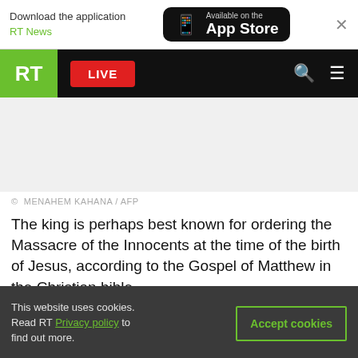Download the application RT News — Available on the App Store
[Figure (screenshot): RT news website navigation bar with RT logo, LIVE button, search and menu icons]
[Figure (photo): Blank/placeholder image area]
© MENAHEM KAHANA / AFP
The king is perhaps best known for ordering the Massacre of the Innocents at the time of the birth of Jesus, according to the Gospel of Matthew in the Christian bible.
This website uses cookies. Read RT Privacy policy to find out more.